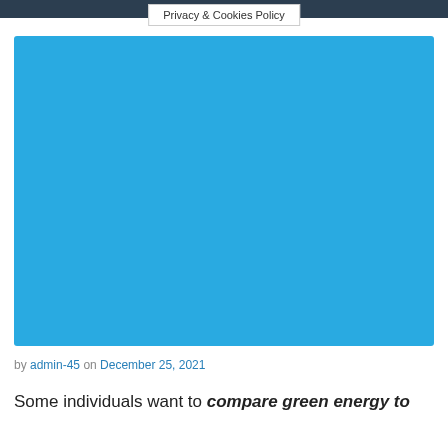Privacy & Cookies Policy
[Figure (photo): Solid light blue rectangle placeholder image]
by admin-45 on December 25, 2021
Some individuals want to compare green energy to